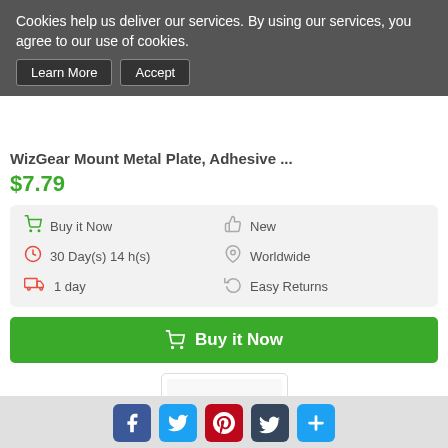Cookies help us deliver our services. By using our services, you agree to our use of cookies.
Learn More | Accept
WizGear Mount Metal Plate, Adhesive ...
$7.79
Buy it Now | New | 30 Day(s) 14 h(s) | Worldwide | 1 day | Easy Returns
Buy it Now
[Figure (photo): Product photo showing two circular black magnetic car mount plates]
Facebook, Twitter, Pinterest, Tumblr, share social icons